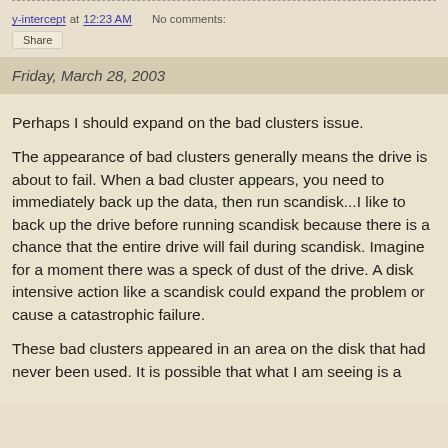y-intercept at 12:23 AM   No comments:
Share
Friday, March 28, 2003
Perhaps I should expand on the bad clusters issue.
The appearance of bad clusters generally means the drive is about to fail. When a bad cluster appears, you need to immediately back up the data, then run scandisk...I like to back up the drive before running scandisk because there is a chance that the entire drive will fail during scandisk. Imagine for a moment there was a speck of dust of the drive. A disk intensive action like a scandisk could expand the problem or cause a catastrophic failure.
These bad clusters appeared in an area on the disk that had never been used. It is possible that what I am seeing is a